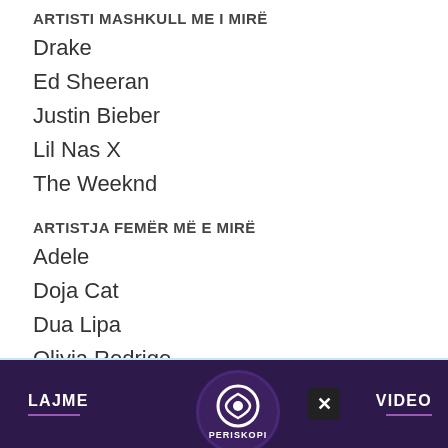ARTISTI MASHKULL ME I MIRË
Drake
Ed Sheeran
Justin Bieber
Lil Nas X
The Weeknd
ARTISTJA FEMËR MË E MIRË
Adele
Doja Cat
Dua Lipa
Olivia Rodrigo
Taylor Swift
[Figure (photo): Partial view of an advertisement image with sky/clouds background and an IPKO red circular logo badge]
LAJME   PERISKOPI   VIDEO